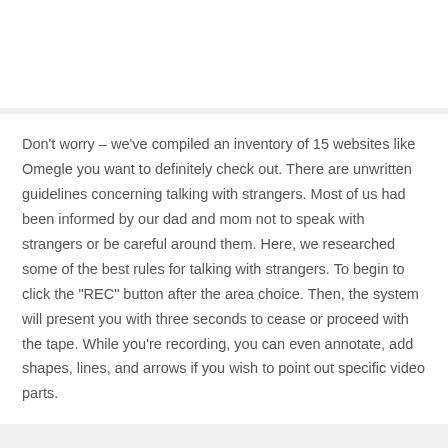Don't worry – we've compiled an inventory of 15 websites like Omegle you want to definitely check out. There are unwritten guidelines concerning talking with strangers. Most of us had been informed by our dad and mom not to speak with strangers or be careful around them. Here, we researched some of the best rules for talking with strangers. To begin to click the "REC" button after the area choice. Then, the system will present you with three seconds to cease or proceed with the tape. While you're recording, you can even annotate, add shapes, lines, and arrows if you wish to point out specific video parts.